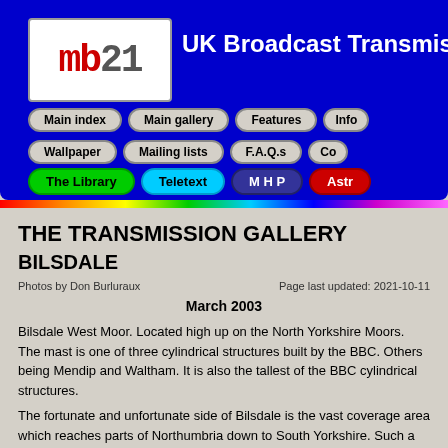[Figure (screenshot): mb21 UK Broadcast Transmissions website header with blue background, logo, navigation buttons in grey pills, and special colored buttons for The Library (green), Teletext (cyan), MHP (navy), and Astr... (red)]
THE TRANSMISSION GALLERY
BILSDALE
Photos by Don Burluraux
Page last updated: 2021-10-11
March 2003
Bilsdale West Moor. Located high up on the North Yorkshire Moors. The mast is one of three cylindrical structures built by the BBC. Others being Mendip and Waltham. It is also the tallest of the BBC cylindrical structures.
The fortunate and unfortunate side of Bilsdale is the vast coverage area which reaches parts of Northumbria down to South Yorkshire. Such a vast coverage towards the south has meant many viewers in Yorkshire...